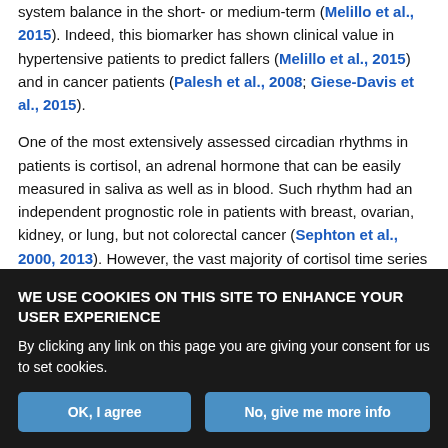system balance in the short- or medium-term (Melillo et al., 2015). Indeed, this biomarker has shown clinical value in hypertensive patients to predict fallers (Melillo et al., 2015) and in cancer patients (Palesh et al., 2008; Giese-Davis et al., 2015).
One of the most extensively assessed circadian rhythms in patients is cortisol, an adrenal hormone that can be easily measured in saliva as well as in blood. Such rhythm had an independent prognostic role in patients with breast, ovarian, kidney, or lung, but not colorectal cancer (Sephton et al., 2000, 2013). However, the vast majority of cortisol time series in patients only involve diurnal samples, with few, if any, night samples. To address this issue, a new sensor was
WE USE COOKIES ON THIS SITE TO ENHANCE YOUR USER EXPERIENCE
By clicking any link on this page you are giving your consent for us to set cookies.